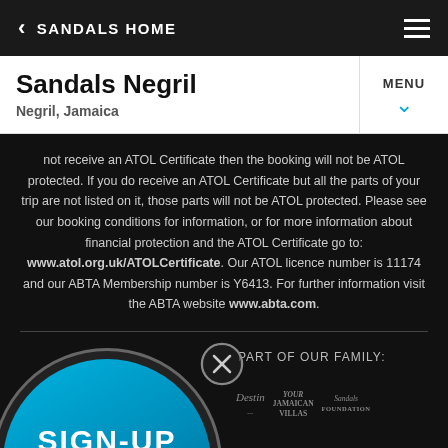< SANDALS HOME
Sandals Negril
Negril, Jamaica
not receive an ATOL Certificate then the booking will not be ATOL protected. If you do receive an ATOL Certificate but all the parts of your trip are not listed on it, those parts will not be ATOL protected. Please see our booking conditions for information, or for more information about financial protection and the ATOL Certificate go to: www.atol.org.uk/ATOLCertificate. Our ATOL licence number is 11174 and our ABTA Membership number is Y6413. For further information visit the ABTA website www.abta.com.
[Figure (infographic): Sign-up to our newsletters circular banner with blue gradient background, overlaid with a close (X) button circle and logos: Destin, Your Jamaican Villas, Sandals Foundation. Text reads PART OF OUR FAMILY.]